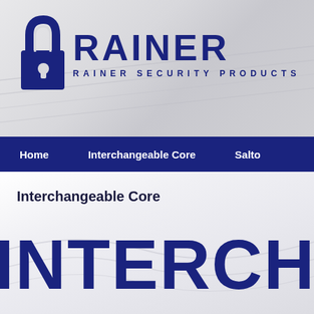[Figure (logo): Rainer Security Products logo with lock icon and company name]
Home  |  Interchangeable Core  |  Salto
Interchangeable Core
INTERCHA